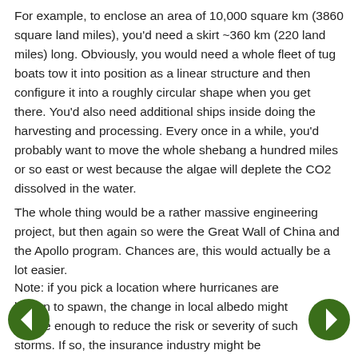For example, to enclose an area of 10,000 square km (3860 square land miles), you'd need a skirt ~360 km (220 land miles) long. Obviously, you would need a whole fleet of tug boats tow it into position as a linear structure and then configure it into a roughly circular shape when you get there. You'd also need additional ships inside doing the harvesting and processing. Every once in a while, you'd probably want to move the whole shebang a hundred miles or so east or west because the algae will deplete the CO2 dissolved in the water.
The whole thing would be a rather massive engineering project, but then again so were the Great Wall of China and the Apollo program. Chances are, this would actually be a lot easier.
Note: if you pick a location where hurricanes are known to spawn, the change in local albedo might just be enough to reduce the risk or severity of such storms. If so, the insurance industry might be persuaded to foot part of the